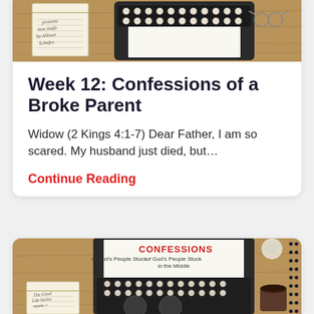[Figure (photo): Top of a card showing a typewriter on a wooden desk with a notepad and glasses, partially cropped at top]
Week 12: Confessions of a Broke Parent
Widow (2 Kings 4:1-7) Dear Father, I am so scared. My husband just died, but…
Continue Reading
[Figure (photo): Bottom card showing a typewriter on a wooden desk with paper reading CONFESSIONS of God's People Stuck in the Middle, a notepad reading The Good Life Series, and crumpled paper and a coffee cup]